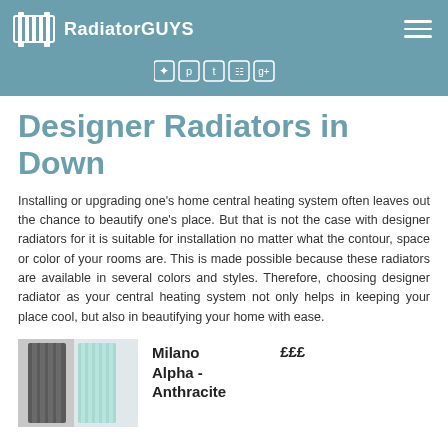RadiatorGUYS
Designer Radiators in Down
Installing or upgrading one's home central heating system often leaves out the chance to beautify one's place. But that is not the case with designer radiators for it is suitable for installation no matter what the contour, space or color of your rooms are. This is made possible because these radiators are available in several colors and styles. Therefore, choosing designer radiator as your central heating system not only helps in keeping your place cool, but also in beautifying your home with ease.
[Figure (photo): Product photo of Milano Alpha Anthracite designer radiator]
Milano Alpha - Anthracite   £££